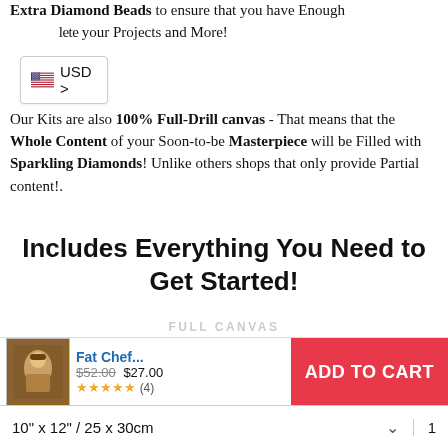Extra Diamond Beads to ensure that you have Enough to complete your Projects and More!
[Figure (logo): USD currency selector badge with US flag icon showing 'USD >']
Our Kits are also 100% Full-Drill canvas - That means that the Whole Content of your Soon-to-be Masterpiece will be Filled with Sparkling Diamonds! Unlike others shops that only provide Partial content!.
Includes Everything You Need to Get Started!
[Figure (logo): LegendaryDIY.com rolled canvas logo/scroll in pink with brand name text]
[Figure (other): Product thumbnail image of Fat Chef diamond painting kit]
Fat Chef... $52.00 $27.00 ★★★★★ (4) ADD TO CART
10" x 12" / 25 x 30cm  ∨  1